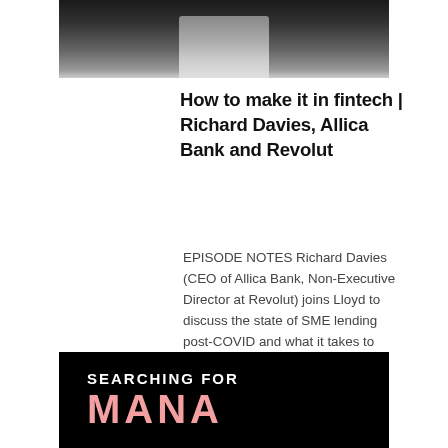[Figure (photo): Black and white photo of a person (partial view) against a dark background, cropped at top of page]
How to make it in fintech | Richard Davies, Allica Bank and Revolut
EPISODE NOTES Richard Davies (CEO of Allica Bank, Non-Executive Director at Revolut) joins Lloyd to discuss the state of SME lending post-COVID and what it takes to succeed at…
[Figure (photo): Black background banner with white text 'SEARCHING FOR' and large pink text 'MANA' partially visible at bottom of page]